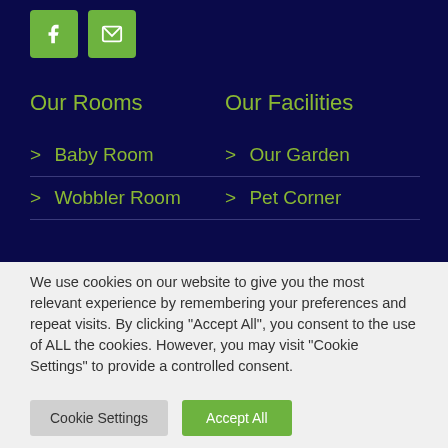[Figure (other): Facebook and email social icon buttons in green on dark navy background]
Our Rooms
Our Facilities
> Baby Room
> Our Garden
> Wobbler Room
> Pet Corner
We use cookies on our website to give you the most relevant experience by remembering your preferences and repeat visits. By clicking “Accept All”, you consent to the use of ALL the cookies. However, you may visit "Cookie Settings" to provide a controlled consent.
Cookie Settings   Accept All